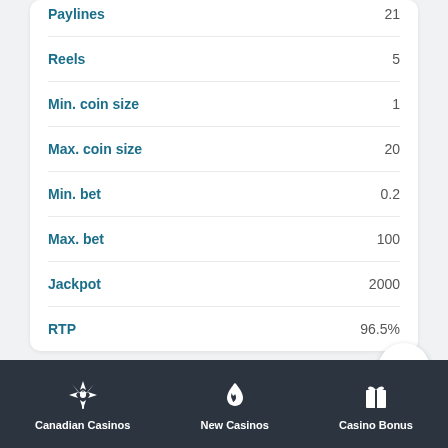| Property | Value |
| --- | --- |
| Paylines | 21 |
| Reels | 5 |
| Min. coin size | 1 |
| Max. coin size | 20 |
| Min. bet | 0.2 |
| Max. bet | 100 |
| Jackpot | 2000 |
| RTP | 96.5% |
Features
Canadian Casinos  New Casinos  Casino Bonus